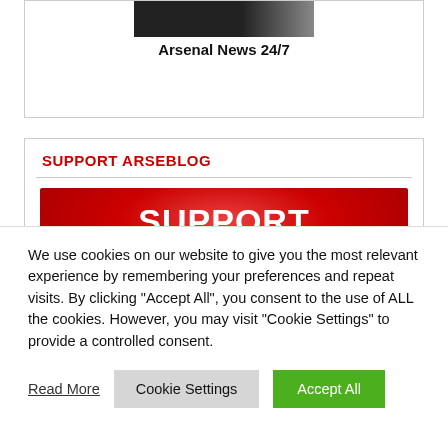[Figure (screenshot): Arsenal News 24/7 logo image (dark banner)]
Arsenal News 24/7
SUPPORT ARSEBLOG
[Figure (illustration): Red banner button with white bold text reading SUPPORT ARSEBLOG]
We use cookies on our website to give you the most relevant experience by remembering your preferences and repeat visits. By clicking "Accept All", you consent to the use of ALL the cookies. However, you may visit "Cookie Settings" to provide a controlled consent.
Read More | Cookie Settings | Accept All